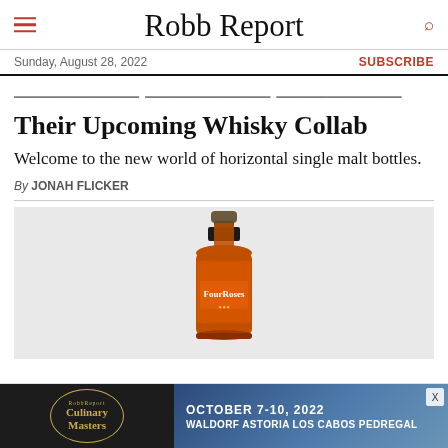Robb Report
Sunday, August 28, 2022
SUBSCRIBE
Their Upcoming Whisky Collab
Welcome to the new world of horizontal single malt bottles.
By JONAH FLICKER
[Figure (photo): A Four Roses whisky bottle on a light gray background]
[Figure (infographic): Advertisement banner for Robb Report Culinary Masters event, October 7-10, 2022, Waldorf Astoria Los Cabos Pedregal]